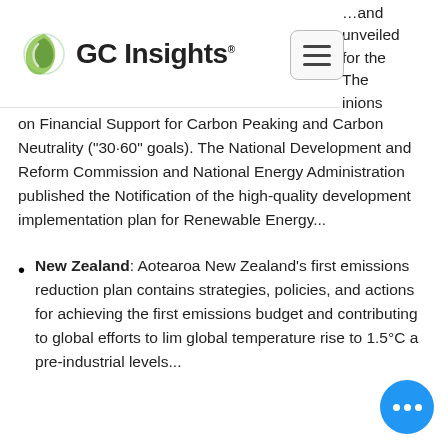GC Insights
and unveiled for the The opinions on Financial Support for Carbon Peaking and Carbon Neutrality ("30·60" goals). The National Development and Reform Commission and National Energy Administration published the Notification of the high-quality development implementation plan for Renewable Energy...
New Zealand: Aotearoa New Zealand's first emissions reduction plan contains strategies, policies, and actions for achieving the first emissions budget and contributing to global efforts to lim global temperature rise to 1.5°C a pre-industrial levels...